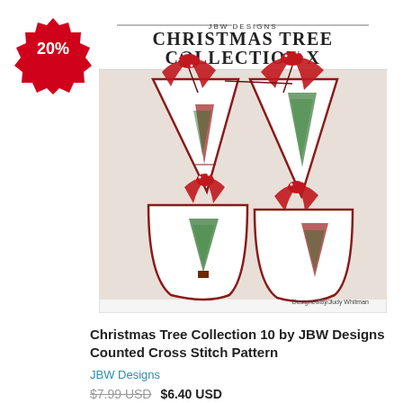[Figure (photo): JBW Designs Christmas Tree Collection X book cover showing four cross-stitch Christmas tree ornaments on white fabric with red ribbon bows, designed by Judy Whitman]
[Figure (illustration): Red starburst/badge shape with '20%' text in white]
Christmas Tree Collection 10 by JBW Designs Counted Cross Stitch Pattern
JBW Designs
$7.99 USD $6.40 USD